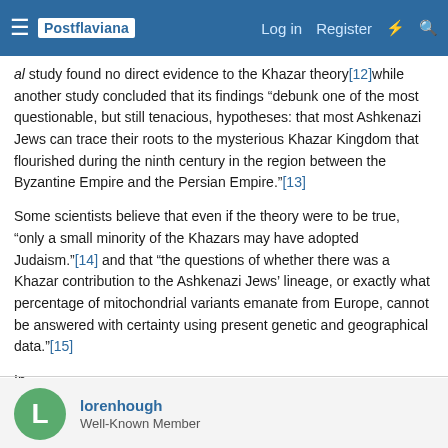Postflaviana  Log in  Register
al study found no direct evidence to the Khazar theory[12]while another study concluded that its findings “debunk one of the most questionable, but still tenacious, hypotheses: that most Ashkenazi Jews can trace their roots to the mysterious Khazar Kingdom that flourished during the ninth century in the region between the Byzantine Empire and the Persian Empire.”[13]
Some scientists believe that even if the theory were to be true, “only a small minority of the Khazars may have adopted Judaism.”[14] and that “the questions of whether there was a Khazar contribution to the Ashkenazi Jews’ lineage, or exactly what percentage of mitochondrial variants emanate from Europe, cannot be answered with certainty using present genetic and geographical data.”[15]
In
lorenhough
Well-Known Member